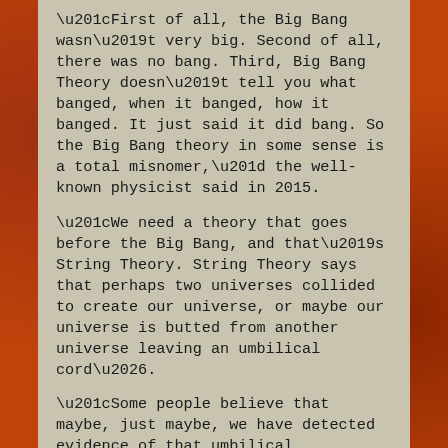“First of all, the Big Bang wasn’t very big. Second of all, there was no bang. Third, Big Bang Theory doesn’t tell you what banged, when it banged, how it banged. It just said it did bang. So the Big Bang theory in some sense is a total misnomer,” the well-known physicist said in 2015.
“We need a theory that goes before the Big Bang, and that’s String Theory. String Theory says that perhaps two universes collided to create our universe, or maybe our universe is butted from another universe leaving an umbilical cord….
“Some people believe that maybe, just maybe, we have detected evidence of that umbilical cord.”
Scientists find a practical test for string theory – January 6, 2014